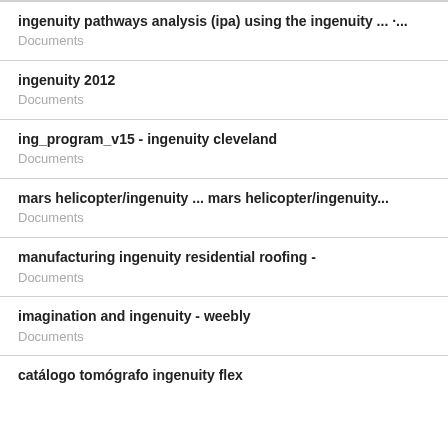ingenuity pathways analysis (ipa) using the ingenuity ... ·...
Documents
ingenuity 2012
Documents
ing_program_v15 - ingenuity cleveland
Documents
mars helicopter/ingenuity ... mars helicopter/ingenuity...
Documents
manufacturing ingenuity residential roofing -
Documents
imagination and ingenuity - weebly
Documents
catálogo tomógrafo ingenuity flex